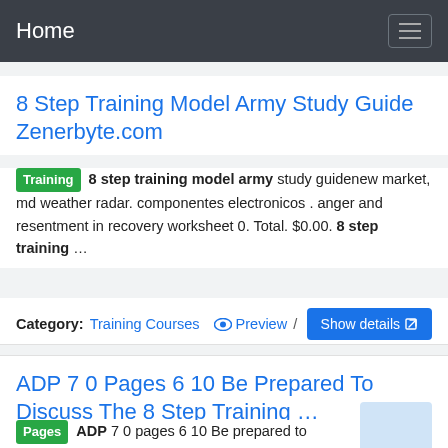Home
8 Step Training Model Army Study Guide Zenerbyte.com
Training 8 step training model army study guidenew market, md weather radar. componentes electronicos . anger and resentment in recovery worksheet 0. Total. $0.00. 8 step training …
Category: Training Courses  Preview / Show details
ADP 7 0 Pages 6 10 Be Prepared To Discuss The 8 Step Training …
Pages ADP 7 0 pages 6 10 Be prepared to discuss the 8